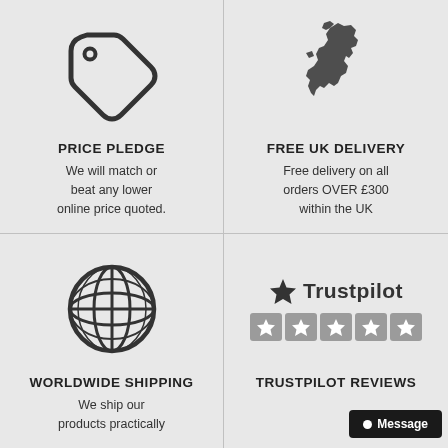[Figure (illustration): Price tag icon - outlined price label with a small circle hole at top left]
PRICE PLEDGE
We will match or beat any lower online price quoted.
[Figure (illustration): Map icon of the United Kingdom silhouette in dark grey]
FREE UK DELIVERY
Free delivery on all orders OVER £300 within the UK
[Figure (illustration): Globe/world icon with grid lines showing latitude and longitude]
WORLDWIDE SHIPPING
We ship our products practically
[Figure (logo): Trustpilot logo with a star and five star rating boxes in grey]
TRUSTPILOT REVIEWS
Message